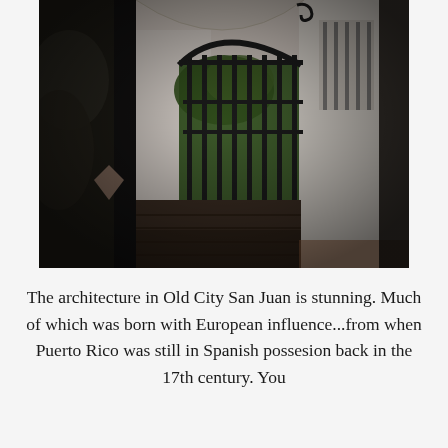[Figure (photo): Photograph of an architectural passageway in Old City San Juan, Puerto Rico. Shows a corridor with white/lavender stucco walls, arched iron gate opening, a dark wrought-iron decorative gate in the background, columns, and a vine-covered stone wall on the left. The scene is dimly lit with a tiled or stone floor.]
The architecture in Old City San Juan is stunning. Much of which was born with European influence...from when Puerto Rico was still in Spanish possesion back in the 17th century. You